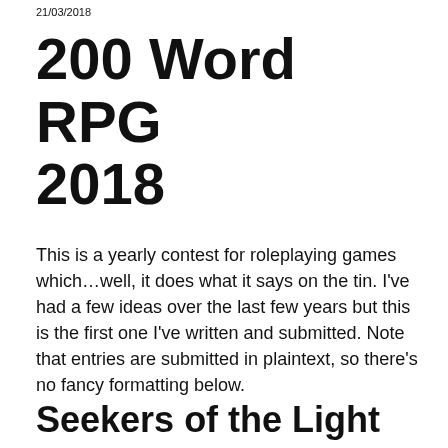21/03/2018
200 Word RPG 2018
This is a yearly contest for roleplaying games which…well, it does what it says on the tin. I've had a few ideas over the last few years but this is the first one I've written and submitted. Note that entries are submitted in plaintext, so there's no fancy formatting below.
Seekers of the Light